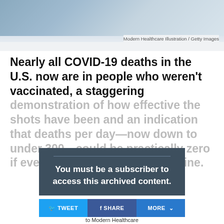[Figure (photo): A blurred/abstract medical or healthcare themed image at the top of the page]
Modern Healthcare Illustration / Getty Images
Nearly all COVID-19 deaths in the U.S. now are in people who weren't vaccinated, a staggering demonstration of how effective the shots have been and an indication that deaths per day—now down to under 300—could be practically zero if everyone eligible got the vaccine.
You must be a subscriber to access this archived content.
TWEET  SHARE  MORE